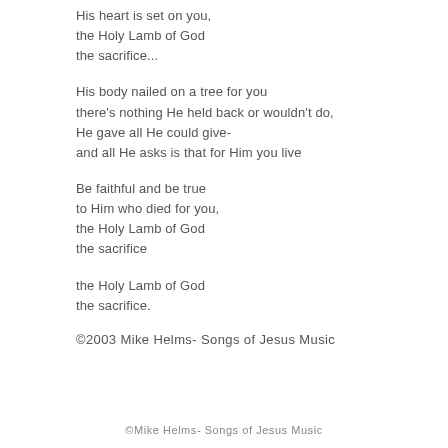His heart is set on you,
the Holy Lamb of God
the sacrifice...
His body nailed on a tree for you
there's nothing He held back or wouldn't do,
He gave all He could give-
and all He asks is that for Him you live
Be faithful and be true
to Him who died for you,
the Holy Lamb of God
the sacrifice
the Holy Lamb of God
the sacrifice.
©2003 Mike Helms- Songs of Jesus Music
©Mike Helms- Songs of Jesus Music